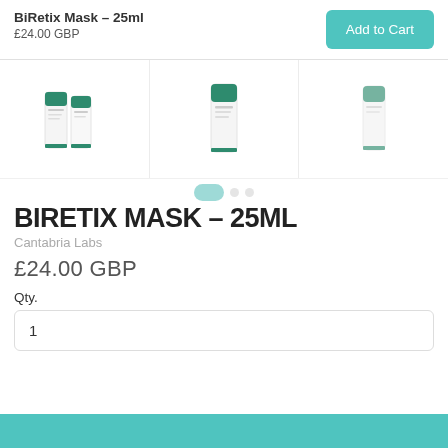BiRetix Mask – 25ml
£24.00 GBP
[Figure (screenshot): Product images of BiRetix Mask 25ml tubes shown in three panels side by side]
BIRETIX MASK – 25ML
Cantabria Labs
£24.00 GBP
Qty.
1